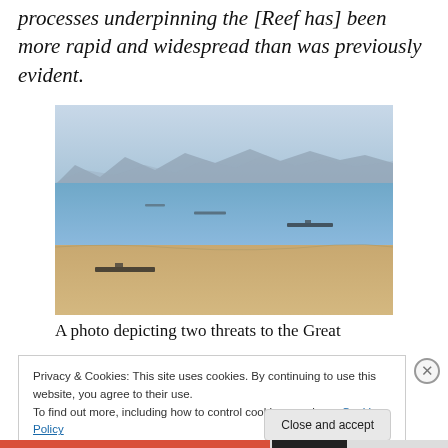processes underpinning the [Reef has] been more rapid and widespread than was previously evident.
[Figure (photo): Aerial photograph showing ocean with ships, gradation from blue water to tan/brown sediment, mountains in background haze.]
A photo depicting two threats to the Great
Privacy & Cookies: This site uses cookies. By continuing to use this website, you agree to their use.
To find out more, including how to control cookies, see here: Cookie Policy